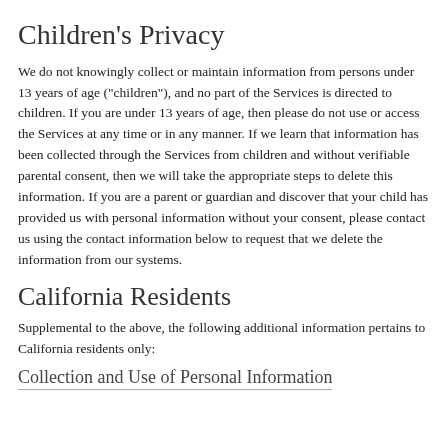Children's Privacy
We do not knowingly collect or maintain information from persons under 13 years of age ("children"), and no part of the Services is directed to children. If you are under 13 years of age, then please do not use or access the Services at any time or in any manner. If we learn that information has been collected through the Services from children and without verifiable parental consent, then we will take the appropriate steps to delete this information. If you are a parent or guardian and discover that your child has provided us with personal information without your consent, please contact us using the contact information below to request that we delete the information from our systems.
California Residents
Supplemental to the above, the following additional information pertains to California residents only:
Collection and Use of Personal Information